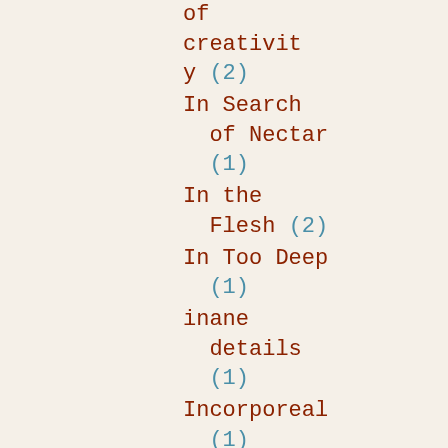of creativity (2)
In Search of Nectar (1)
In the Flesh (2)
In Too Deep (1)
inane details (1)
Incorporeal (1)
Independent Author Symposium